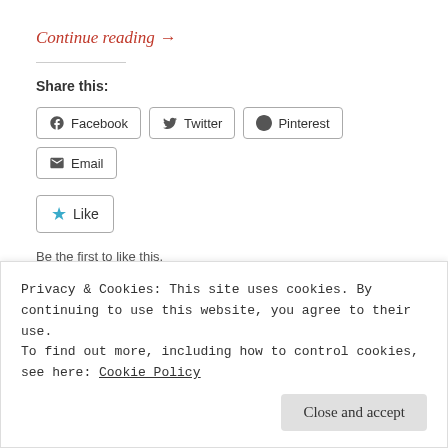Continue reading →
Share this:
Facebook  Twitter  Pinterest  Email
★ Like
Be the first to like this.
Privacy & Cookies: This site uses cookies. By continuing to use this website, you agree to their use.
To find out more, including how to control cookies, see here: Cookie Policy
Close and accept